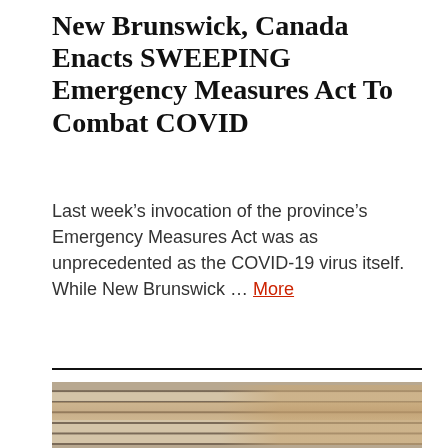New Brunswick, Canada Enacts SWEEPING Emergency Measures Act To Combat COVID
Last week's invocation of the province's Emergency Measures Act was as unprecedented as the COVID-19 virus itself. While New Brunswick … More
[Figure (photo): Close-up photo of two people (a man and a woman with blonde hair) peering through horizontal window blinds]